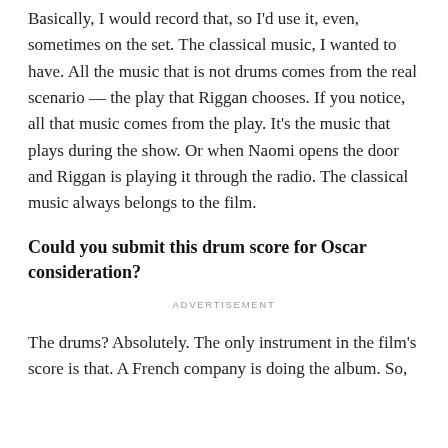Basically, I would record that, so I'd use it, even, sometimes on the set. The classical music, I wanted to have. All the music that is not drums comes from the real scenario — the play that Riggan chooses. If you notice, all that music comes from the play. It's the music that plays during the show. Or when Naomi opens the door and Riggan is playing it through the radio. The classical music always belongs to the film.
Could you submit this drum score for Oscar consideration?
ADVERTISEMENT
The drums? Absolutely. The only instrument in the film's score is that. A French company is doing the album. So,